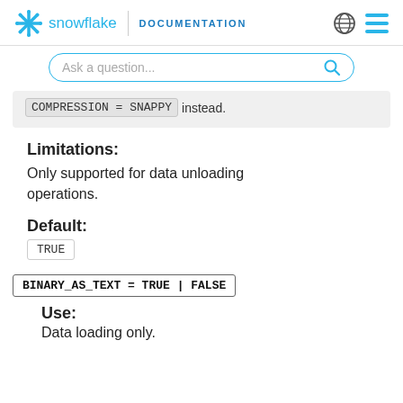snowflake DOCUMENTATION
COMPRESSION = SNAPPY instead.
Limitations:
Only supported for data unloading operations.
Default:
TRUE
BINARY_AS_TEXT = TRUE | FALSE
Use:
Data loading only.